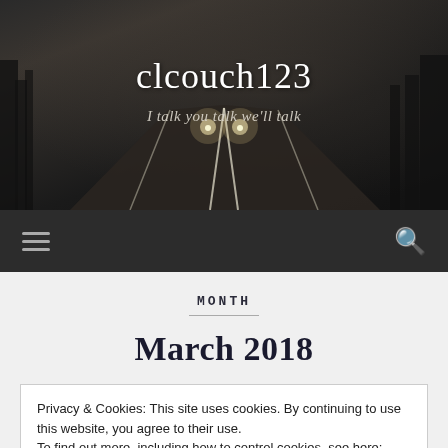[Figure (photo): Dark foggy road at night with car headlights in the distance, sepia-dark tones, trees silhouetted on sides]
clcouch123
I talk you talk we'll talk
Navigation bar with hamburger menu and search icon
MONTH
March 2018
Privacy & Cookies: This site uses cookies. By continuing to use this website, you agree to their use.
To find out more, including how to control cookies, see here: Cookie Policy
Close and accept